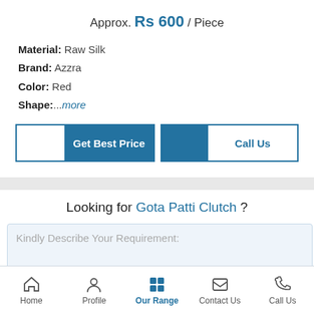Approx. Rs 600 / Piece
Material: Raw Silk
Brand: Azzra
Color: Red
Shape: ...more
Get Best Price | Call Us
Looking for Gota Patti Clutch ?
Kindly Describe Your Requirement:
Home | Profile | Our Range | Contact Us | Call Us